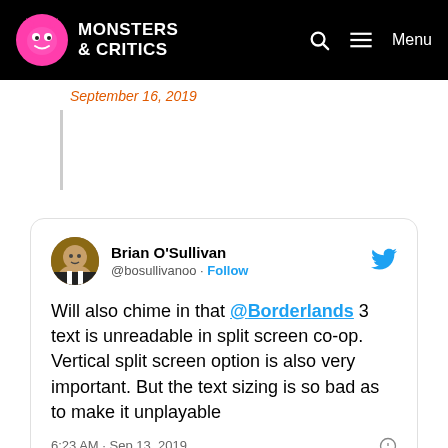Monsters & Critics — Menu
September 16, 2019
[Figure (screenshot): Embedded tweet from Brian O'Sullivan (@bosullivanoo) with Twitter bird icon, profile photo, Follow link, tweet text about Borderlands 3 text being unreadable in split screen co-op, timestamp 6:23 AM Sep 13 2019, heart reaction count 4, Reply, Copy link, and Explore what's happening on Twitter button]